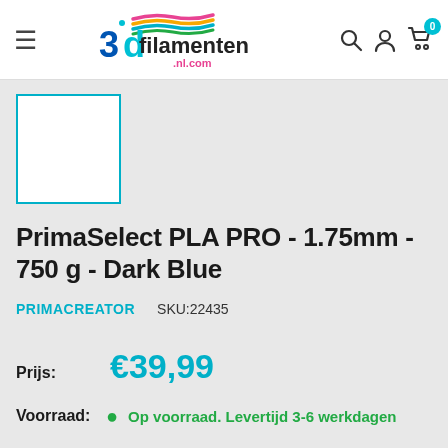[Figure (logo): 3dfilamenten.nl.com logo with colorful stripe and 3D text]
[Figure (photo): Product image placeholder — white square with cyan border]
PrimaSelect PLA PRO - 1.75mm - 750 g - Dark Blue
PRIMACREATOR   SKU:22435
Prijs: €39,99
Voorraad: ● Op voorraad. Levertijd 3-6 werkdagen